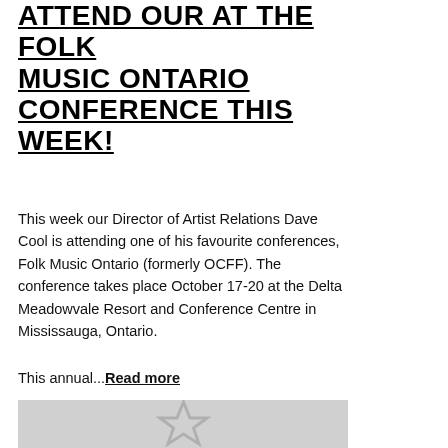ATTEND OUR AT THE FOLK MUSIC ONTARIO CONFERENCE THIS WEEK!
This week our Director of Artist Relations Dave Cool is attending one of his favourite conferences, Folk Music Ontario (formerly OCFF). The conference takes place October 17-20 at the Delta Meadowvale Resort and Conference Centre in Mississauga, Ontario.
This annual...Read more
[Figure (illustration): Grey placeholder image with a white star outline in the center]